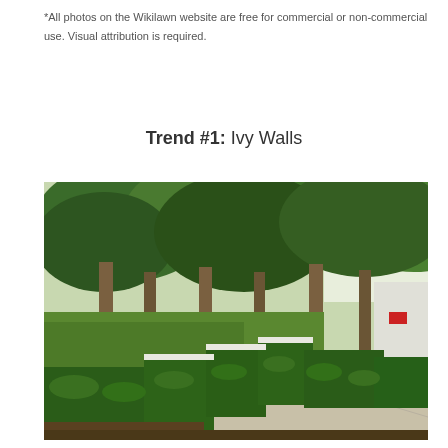*All photos on the Wikilawn website are free for commercial or non-commercial use. Visual attribution is required.
Trend #1: Ivy Walls
[Figure (photo): Photograph of a tree-lined sidewalk with neatly trimmed stepped ivy-covered green hedges forming a wall along the right side, with tall trees behind them and bright daylight.]